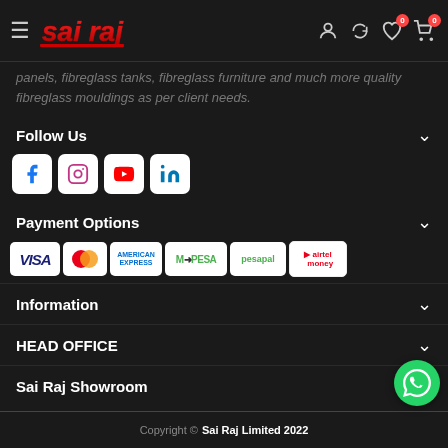Sai Raj — navigation header with logo and icons
panels, fibreglass tanks, fibreglass furniture and much more quality fibreglass mouldings as per client needs.
Follow Us
[Figure (illustration): Social media icons: Facebook, Instagram, YouTube, LinkedIn]
Payment Options
[Figure (illustration): Payment logos: VISA, MasterCard, American Express, M-PESA, pesapal, airtel money]
Information
HEAD OFFICE
Sai Raj Showroom
Copyright © Sai Raj Limited 2022